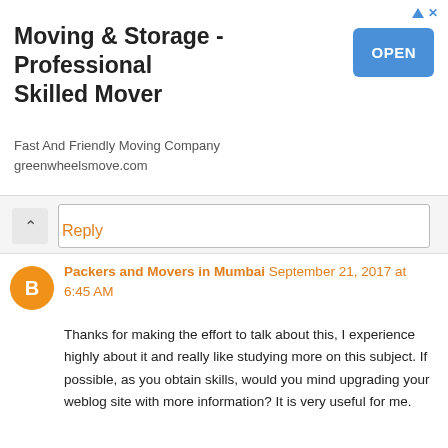[Figure (other): Advertisement banner for Moving & Storage - Professional Skilled Mover with OPEN button]
Reply
Packers and Movers in Mumbai September 21, 2017 at 6:45 AM
Thanks for making the effort to talk about this, I experience highly about it and really like studying more on this subject. If possible, as you obtain skills, would you mind upgrading your weblog site with more information? It is very useful for me.
http://transmoverspackers.com/Mumbai/packers-and-movers-in-umroli.html
http://transmoverspackers.com/Mumbai/packers-and-